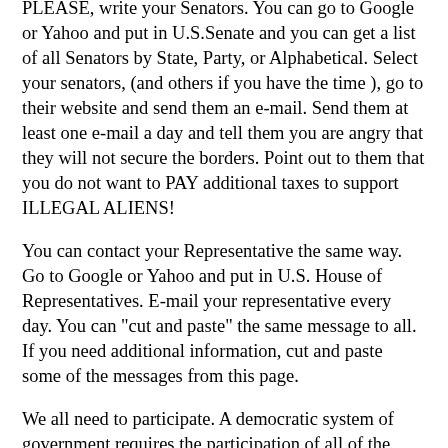PLEASE, write your Senators. You can go to Google or Yahoo and put in U.S.Senate and you can get a list of all Senators by State, Party, or Alphabetical. Select your senators, (and others if you have the time ), go to their website and send them an e-mail. Send them at least one e-mail a day and tell them you are angry that they will not secure the borders. Point out to them that you do not want to PAY additional taxes to support ILLEGAL ALIENS!
You can contact your Representative the same way. Go to Google or Yahoo and put in U.S. House of Representatives. E-mail your representative every day. You can "cut and paste" the same message to all. If you need additional information, cut and paste some of the messages from this page.
We all need to participate. A democratic system of government requires the participation of all of the citizens to succeed. If you want representation, you must let your representatives in the government know your viewpoints!
Offensive | Reply
2006-07-26 14:45:28